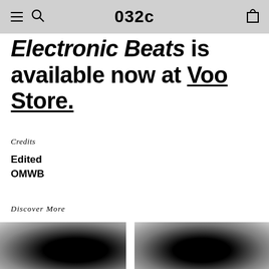032c
Electronic Beats is available now at Voo Store.
Credits
Edited
OMWB
Discover More
[Figure (photo): Left thumbnail image, dark blurred background]
[Figure (photo): Right thumbnail image, dark blurred background]